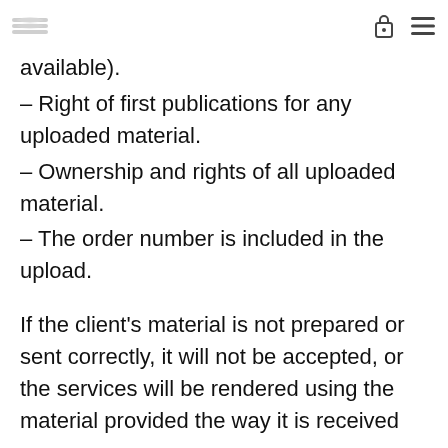Ensure ISRC data is included (if available).
– Right of first publications for any uploaded material.
– Ownership and rights of all uploaded material.
– The order number is included in the upload.
If the client's material is not prepared or sent correctly, it will not be accepted, or the services will be rendered using the material provided the way it is received